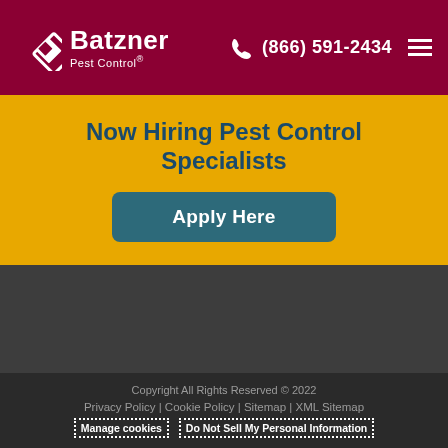Batzner Pest Control — (866) 591-2434
Now Hiring Pest Control Specialists
Apply Here
[Figure (other): Dark grey content area placeholder]
Copyright All Rights Reserved © 2022 | Privacy Policy | Cookie Policy | Sitemap | XML Sitemap | Manage cookies | Do Not Sell My Personal Information